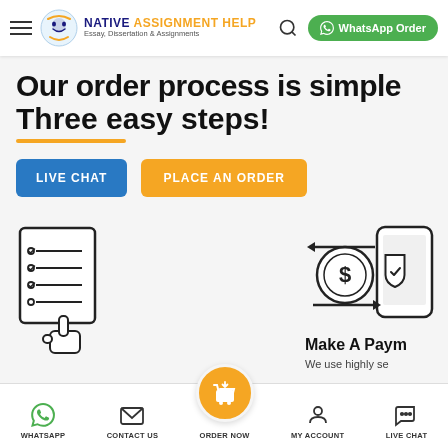Native Assignment Help — Essay, Dissertation & Assignments
Our order process is simple Three easy steps!
LIVE CHAT | PLACE AN ORDER
[Figure (illustration): Icon of a checklist/form with a pointing hand cursor]
[Figure (illustration): Icon of a dollar coin with shield and a smartphone with arrows, representing payment]
Make A Payment
We use highly se
WHATSAPP | CONTACT US | ORDER NOW | MY ACCOUNT | LIVE CHAT